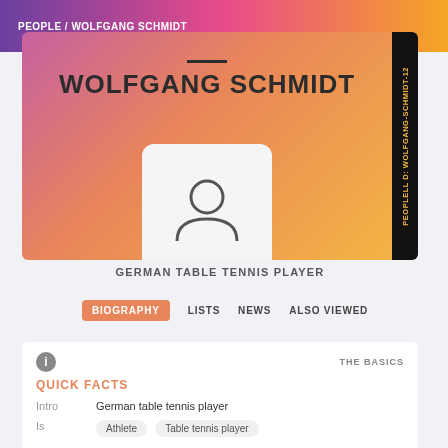PEOPLE / WOLFGANG SCHMIDT
WOLFGANG SCHMIDT
[Figure (illustration): Generic person silhouette/avatar icon in a rounded square white box]
GERMAN TABLE TENNIS PLAYER
BIOGRAPHY  LISTS  NEWS  ALSO VIEWED
THE BASICS
QUICK FACTS
Intro  German table tennis player
Is  Athlete  Table tennis player